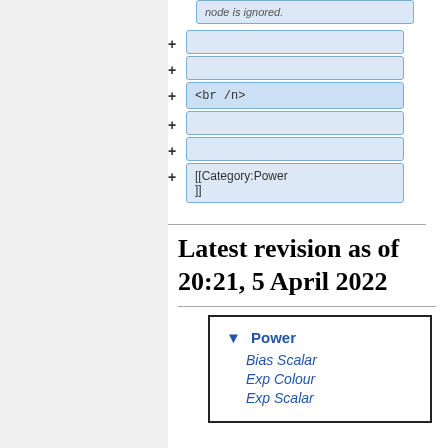[Figure (screenshot): Diff view showing added lines with blue boxes and + signs. Lines shown: empty box, empty box, <br /n> box, empty box, empty box, [[Category:Power]] box.]
Latest revision as of 20:21, 5 April 2022
[Figure (other): Navigation box with 'Power' header and italic items: Bias Scalar, Exp Colour, Exp Scalar]